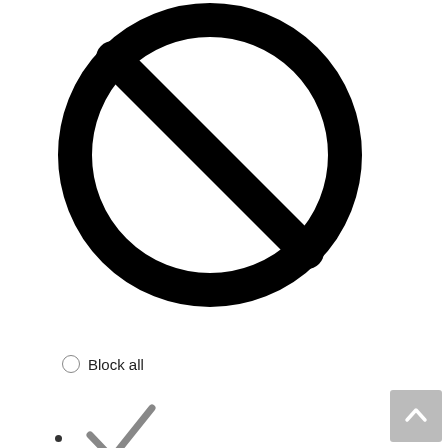[Figure (illustration): Large black circle with a diagonal line through it (block/no symbol), cropped at top]
Block all (radio button, unselected)
Checkmark icon (grey)
Essentials (radio button, selected/blue)
Gear/settings icon (grey)
Functionality (radio button, unselected)
[Figure (illustration): Area chart icon (grey outline with dotted pattern)]
[Figure (illustration): Scroll-to-top button (grey square with upward chevron)]